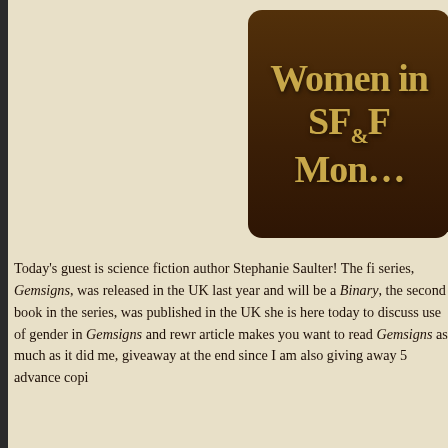Women in SF&F Month
Today's guest is science fiction author Stephanie Saulter! The fi series, Gemsigns, was released in the UK last year and will be a Binary, the second book in the series, was published in the UK she is here today to discuss use of gender in Gemsigns and rewr article makes you want to read Gemsigns as much as it did me, giveaway at the end since I am also giving away 5 advance copi
[Figure (photo): Book cover of Gemsigns showing a fist raised against a textured dark background with quote 'Hugely gripping.' - Sci-Fi Now]
[Figure (photo): Book cover of Binary showing an abstract colorful face in blue and orange tones]